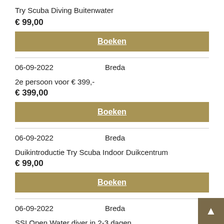Try Scuba Diving Buitenwater
€ 99,00
Boeken
06-09-2022    Breda
2e persoon voor € 399,-
€ 399,00
Boeken
06-09-2022    Breda
Duikintroductie Try Scuba Indoor Duikcentrum
€ 99,00
Boeken
06-09-2022    Breda
SSI Open Water diver in 2-3 dagen
€ 599,00